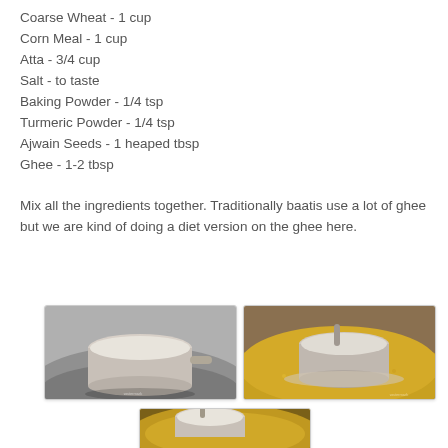Coarse Wheat - 1 cup
Corn Meal - 1 cup
Atta - 3/4 cup
Salt - to taste
Baking Powder - 1/4 tsp
Turmeric Powder - 1/4 tsp
Ajwain Seeds - 1 heaped tbsp
Ghee - 1-2 tbsp
Mix all the ingredients together. Traditionally baatis use a lot of ghee but we are kind of doing a diet version on the ghee here.
[Figure (photo): A measuring cup filled with coarse wheat flour on a metal surface]
[Figure (photo): A measuring cup of flour being added to corn meal in a mixing bowl]
[Figure (photo): Partial view of a bowl with mixed dry ingredients]